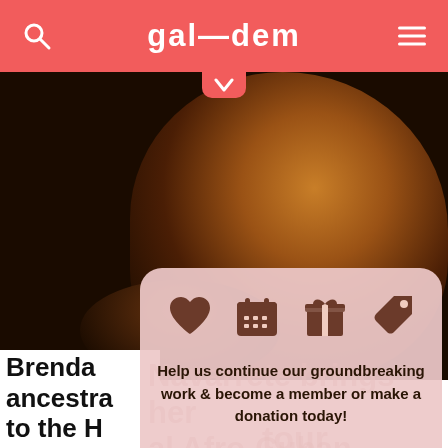gal—dem
[Figure (photo): Dark portrait photo of a woman looking over her shoulder, dimly lit with warm amber tones on a dark background]
[Figure (infographic): Membership modal overlay with heart, calendar, gift, and tag icons, and text: Help us continue our groundbreaking work & become a member or make a donation today!]
Brenda Navarrete brings her ancestral Afro-Cuban heritage to the Havana Meets Kingston tour